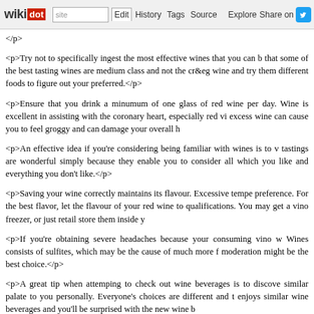wikidot | site | Edit | History | Tags | Source | Explore | Share on Twitter
</p>
<p>Try not to specifically ingest the most effective wines that you can b that some of the best tasting wines are medium class and not the cr&eg wine and try them different foods to figure out your preferred.</p>
<p>Ensure that you drink a minumum of one glass of red wine per day. Wine is excellent in assisting with the coronary heart, especially red vi excess wine can cause you to feel groggy and can damage your overall h
<p>An effective idea if you're considering being familiar with wines is to v tastings are wonderful simply because they enable you to consider all which you like and everything you don't like.</p>
<p>Saving your wine correctly maintains its flavour. Excessive tempe preference. For the best flavor, let the flavour of your red wine to qualifications. You may get a vino freezer, or just retail store them inside y
<p>If you're obtaining severe headaches because your consuming vino w Wines consists of sulfites, which may be the cause of much more f moderation might be the best choice.</p>
<p>A great tip when attemping to check out wine beverages is to discove similar palate to you personally. Everyone's choices are different and t enjoys similar wine beverages and you'll be surprised with the new wine b
<p>Make certain that the jar is incredibly frosty whenever you open it up. especially if you are servicing a sizable group. Naturally, wines will ge particularly at space temperatures, so establish that it is cool upon openin